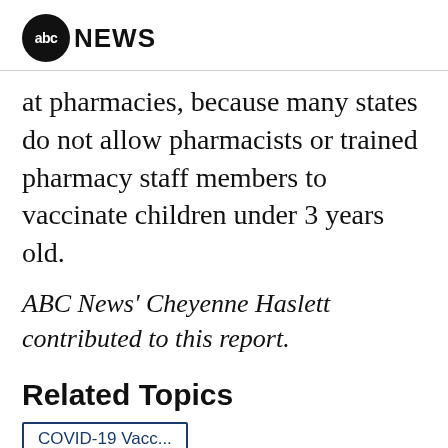abc NEWS
at pharmacies, because many states do not allow pharmacists or trained pharmacy staff members to vaccinate children under 3 years old.
ABC News' Cheyenne Haslett contributed to this report.
Related Topics
COVID-19 Vacc...